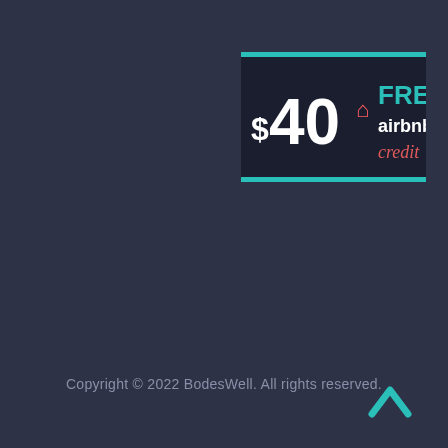[Figure (infographic): Promotional badge showing '$40 FREE airbnb credit' on a dark background with teal border lines. '$40' in large white text, airbnb logo, 'FREE' in teal, 'airbnb' in white, 'credit' in coral/red italic.]
Copyright © 2022 BodesWell. All rights reserved.